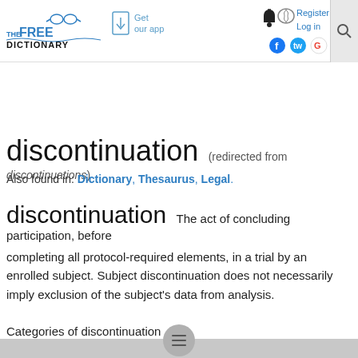TheFREEDICTIONARY by Farlex — Get our app — Register Log in
discontinuation (redirected from discontinuations)
Also found in: Dictionary, Thesaurus, Legal.
discontinuation
The act of concluding participation, before completing all protocol-required elements, in a trial by an enrolled subject. Subject discontinuation does not necessarily imply exclusion of the subject's data from analysis.
Categories of discontinuation